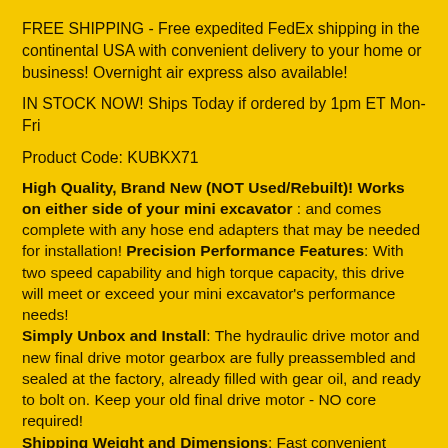FREE SHIPPING - Free expedited FedEx shipping in the continental USA with convenient delivery to your home or business! Overnight air express also available!
IN STOCK NOW! Ships Today if ordered by 1pm ET Mon-Fri
Product Code: KUBKX71
High Quality, Brand New (NOT Used/Rebuilt)! Works on either side of your mini excavator : and comes complete with any hose end adapters that may be needed for installation! Precision Performance Features: With two speed capability and high torque capacity, this drive will meet or exceed your mini excavator's performance needs! Simply Unbox and Install: The hydraulic drive motor and new final drive motor gearbox are fully preassembled and sealed at the factory, already filled with gear oil, and ready to bolt on. Keep your old final drive motor - NO core required! Shipping Weight and Dimensions: Fast convenient FedEx delivery in a heavy duty cardboard box, weighing 84.4 pounds (= 38.26 kilograms), size 1.96 cu ft (= 0.056...